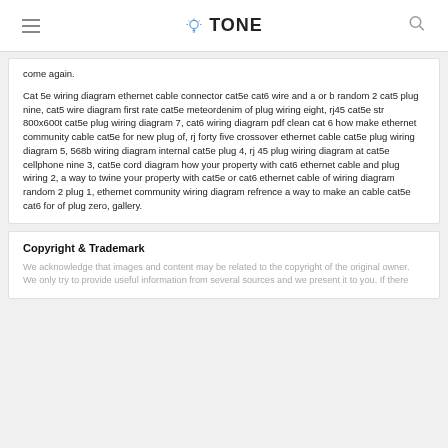TONE
come again.
Cat 5e wiring diagram ethernet cable connector cat5e cat6 wire and a or b random 2 cat5 plug nine, cat5 wire diagram first rate cat5e meteordenim of plug wiring eight, rj45 cat5e str 800x600t cat5e plug wiring diagram 7, cat6 wiring diagram pdf clean cat 6 how make ethernet community cable cat5e for new plug of, rj forty five crossover ethernet cable cat5e plug wiring diagram 5, 568b wiring diagram internal cat5e plug 4, rj 45 plug wiring diagram at cat5e cellphone nine 3, cat5e cord diagram how your property with cat6 ethernet cable and plug wiring 2, a way to twine your property with cat5e or cat6 ethernet cable of wiring diagram random 2 plug 1, ethernet community wiring diagram refrence a way to make an cable cat5e cat6 for of plug zero, gallery.
Copyright & Trademark
We acknowledge that images and content may be related to the copyright of the original owner. We only try to provide useful information from several sources and we present it to you. If there